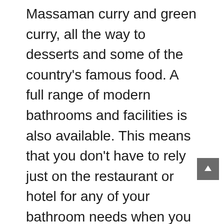Massaman curry and green curry, all the way to desserts and some of the country's famous food. A full range of modern bathrooms and facilities is also available. This means that you don't have to rely just on the restaurant or hotel for any of your bathroom needs when you take a trip on a thai bus.
In addition to sampling the food of Thailand on a bus tour you will also get an opportunity to taste some of the country's non-perishable food as well. Many of the places you travel on a